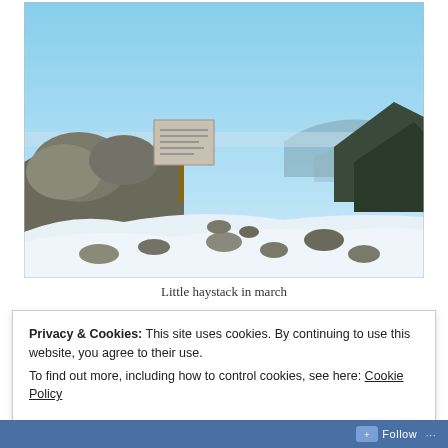[Figure (photo): Photo of a snowy mountain summit with rocks, a trail sign post, clear blue sky, and distant mountain ridges. Caption: Little haystack in march.]
Little haystack in march
Privacy & Cookies: This site uses cookies. By continuing to use this website, you agree to their use.
To find out more, including how to control cookies, see here: Cookie Policy
Close and accept